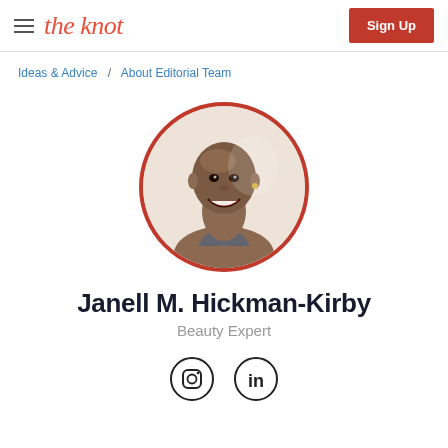the knot | Sign Up
Ideas & Advice / About Editorial Team
[Figure (photo): Circular portrait photo of Janell M. Hickman-Kirby, a smiling woman with a shaved head wearing a dark halter top, on a white background, framed by a red circle border.]
Janell M. Hickman-Kirby
Beauty Expert
[Figure (other): Instagram and LinkedIn social media icons (circle outlines with respective logos inside)]